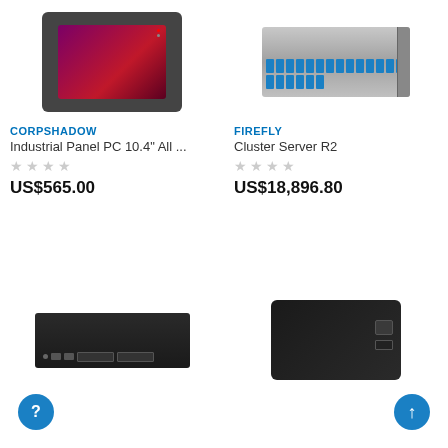[Figure (photo): Industrial Panel PC with dark frame and purple/red gradient touchscreen display]
[Figure (photo): Rack-mounted cluster server with blue fiber optic ports on front panel]
CORPSHADOW
FIREFLY
Industrial Panel PC 10.4" All ...
Cluster Server R2
US$565.00
US$18,896.80
[Figure (photo): 1U rackmount server with black chassis and front-panel ports and drives]
[Figure (photo): Small black external USB hub/box device with USB-A and USB-C ports]